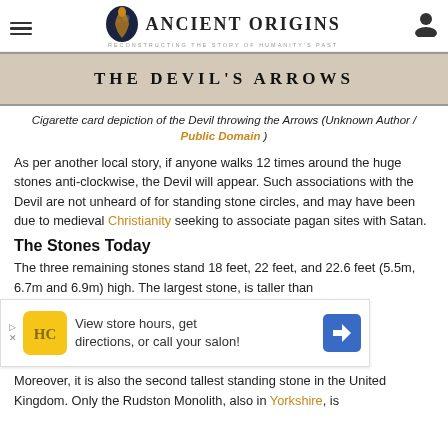Ancient Origins — Reconstructing the Story of Humanity's Past
[Figure (illustration): Vintage-style image header showing 'THE DEVIL'S ARROWS' text on a sepia-toned card background]
Cigarette card depiction of the Devil throwing the Arrows (Unknown Author / Public Domain )
As per another local story, if anyone walks 12 times around the huge stones anti-clockwise, the Devil will appear. Such associations with the Devil are not unheard of for standing stone circles, and may have been due to medieval Christianity seeking to associate pagan sites with Satan.
The Stones Today
The three remaining stones stand 18 feet, 22 feet, and 22.6 feet (5.5m, 6.7m and 6.9m) high. The largest stone, is taller than
Moreover, it is also the second tallest standing stone in the United Kingdom. Only the Rudston Monolith, also in Yorkshire, is